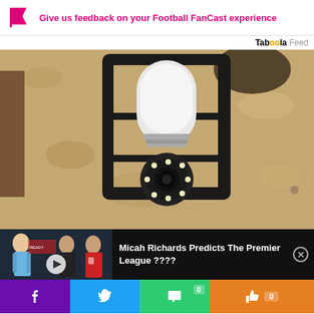Give us feedback on your Football FanCast experience
Tab00la Feed
[Figure (photo): Close-up photo of a security camera shaped like a light bulb installed in an outdoor black lantern fixture mounted on a textured stone/stucco wall]
[Figure (screenshot): Video overlay strip showing football players including Erling Haaland and Mohamed Salah with text: Micah Richards Predicts The Premier League ????]
Micah Richards Predicts The Premier League ????
Social sharing bar with Facebook, Twitter, comment, and like buttons